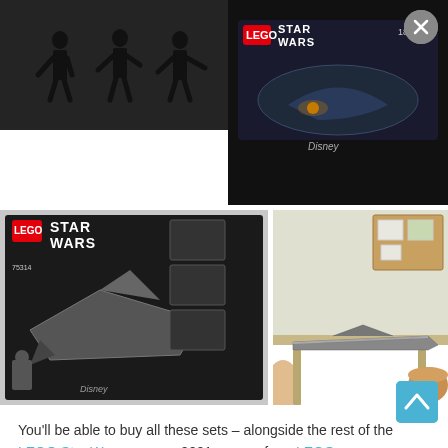[Figure (photo): Dark background with LEGO Star Wars minifigure silhouettes on the left side of the top bar]
[Figure (photo): LEGO Star Wars set box (top right) showing a spaceship/starfighter set against dark background]
[Figure (photo): LEGO Star Wars 75314 The Bad Batch Attack Shuttle set box art on the bottom left]
[Figure (photo): LEGO Star Wars Imperial Star Destroyer built model displayed on a table in a room setting]
You'll be able to buy all these sets – alongside the rest of the LEGO Star Wars summer 2021 wave – from LEGO.com on August 1. 75314 The Bad Batch